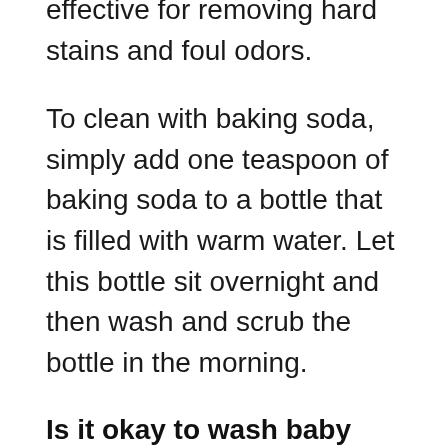effective for removing hard stains and foul odors.
To clean with baking soda, simply add one teaspoon of baking soda to a bottle that is filled with warm water. Let this bottle sit overnight and then wash and scrub the bottle in the morning.
Is it okay to wash baby bottles with dish soap?
While not a natural approach to cleaning baby bottles, mild dish soap can be used to clean dirty baby bottles. If you are choosing to use soap to wash the bottles for your little one be sure to avoid the following chemicals: sodium lauryl sulfate and